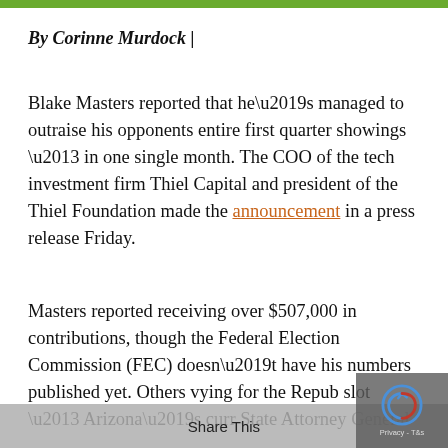By Corinne Murdock |
Blake Masters reported that he’s managed to outraise his opponents entire first quarter showings – in one single month. The COO of the tech investment firm Thiel Capital and president of the Thiel Foundation made the announcement in a press release Friday.
Masters reported receiving over $507,000 in contributions, though the Federal Election Commission (FEC) doesn’t have his numbers published yet. Others vying for the Repub slot – Arizona’s curr State Attorney General
Share This